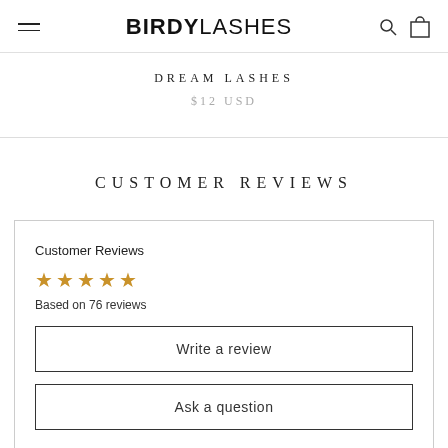BIRDYLASHES
DREAM LASHES
$12 USD
CUSTOMER REVIEWS
Customer Reviews
★★★★★
Based on 76 reviews
Write a review
Ask a question